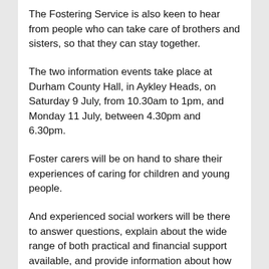The Fostering Service is also keen to hear from people who can take care of brothers and sisters, so that they can stay together.
The two information events take place at Durham County Hall, in Aykley Heads, on Saturday 9 July, from 10.30am to 1pm, and Monday 11 July, between 4.30pm and 6.30pm.
Foster carers will be on hand to share their experiences of caring for children and young people.
And experienced social workers will be there to answer questions, explain about the wide range of both practical and financial support available, and provide information about how to get